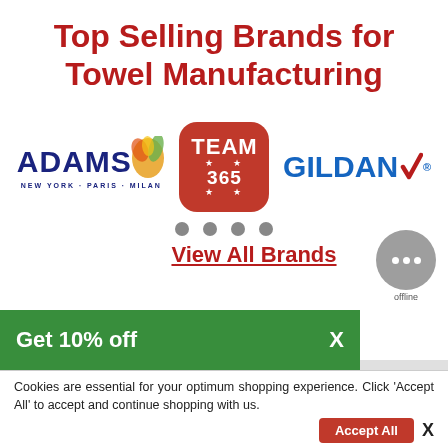Top Selling Brands for Towel Manufacturing
[Figure (logo): Adams New York Paris Milan logo, Team 365 red rounded square logo, Gildan blue logo with red checkmark]
[Figure (other): Four gray navigation dots indicating carousel position]
[Figure (other): Chat widget circle with three dots, labeled offline]
View All Brands
Get 10% off  X
Cookies are essential for your optimum shopping experience. Click 'Accept All' to accept and continue shopping with us.